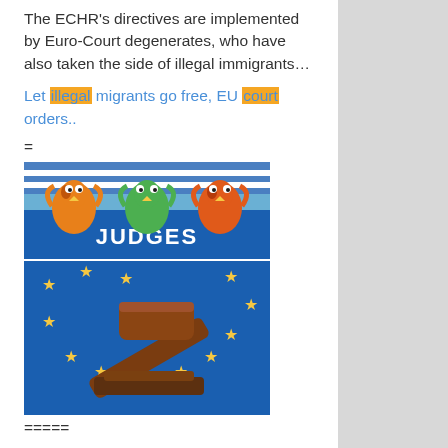The ECHR’s directives are implemented by Euro-Court degenerates, who have also taken the side of illegal immigrants…
Let illegal migrants go free, EU court orders..
=
[Figure (illustration): Two-part image: top shows cartoon bird-like characters in judge robes behind a blue podium labeled JUDGES; bottom shows a wooden gavel on a blue EU flag with yellow stars.]
=====
…saying that police have no right to detain lawless aliens who violate the sovereign borders of the country in which police have a duty to enforce the law!
And the same court ( ‘of human rights’